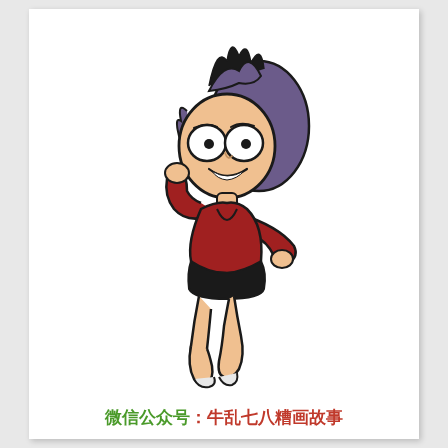[Figure (illustration): A cartoon illustration of a confident woman with purple spiky hair, large round eyes with black pupils, wearing a dark red V-neck long-sleeve top and a black mini skirt, striking a pose with one hand raised to her head and the other on her hip, with crossed legs and white heels.]
微信公众号：牛乱七八糟画故事